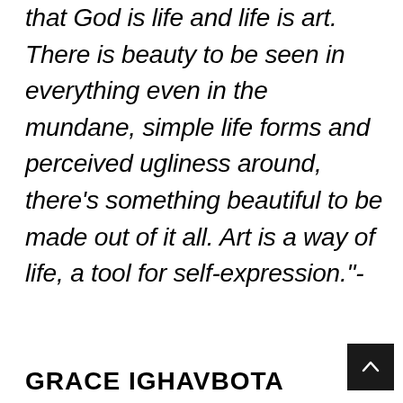that God is life and life is art. There is beauty to be seen in everything even in the mundane, simple life forms and perceived ugliness around, there's something beautiful to be made out of it all. Art is a way of life, a tool for self-expression."-
GRACE IGHAVBOTA